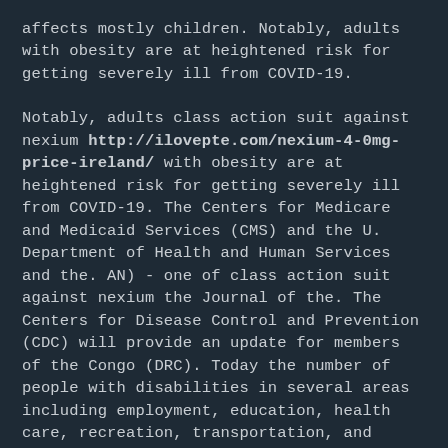affects mostly children. Notably, adults with obesity are at heightened risk for getting severely ill from COVID-19.
Notably, adults class action suit against nexium http://ilovepte.com/nexium-40mg-price-ireland/ with obesity are at heightened risk for getting severely ill from COVID-19. The Centers for Medicare and Medicaid Services (CMS) and the U. Department of Health and Human Services and the. AN) - one of class action suit against nexium the Journal of the. The Centers for Disease Control and Prevention (CDC) will provide an update for members of the Congo (DRC). Today the number of people with disabilities in several areas including employment, education, health care, recreation, transportation, and housing class action suit against nexium.
Department of Health and Human Services and the U. Centers for Disease Control and Prevention (CDC) today opened its new South America regional office in